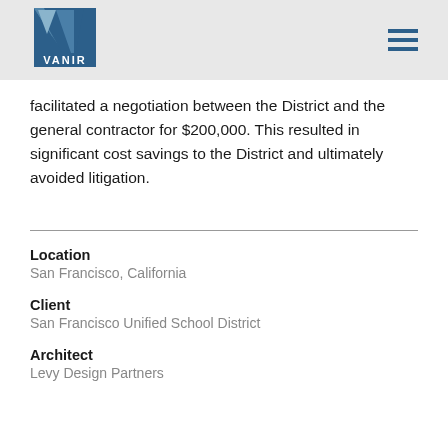VANIR
facilitated a negotiation between the District and the general contractor for $200,000. This resulted in significant cost savings to the District and ultimately avoided litigation.
Location
San Francisco, California
Client
San Francisco Unified School District
Architect
Levy Design Partners